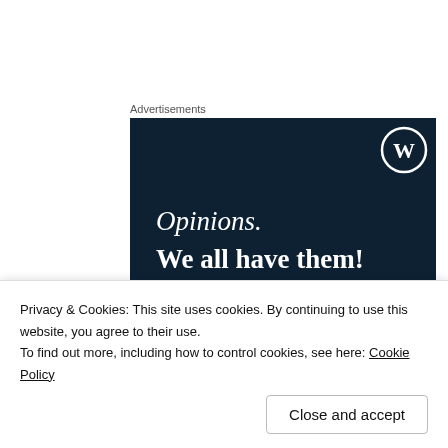Advertisements
[Figure (illustration): WordPress advertisement banner with dark navy background showing a WordPress logo (W in circle) top right, italic text 'Opinions.' and bold text 'We all have them!']
Give away your time
Why spend money if you don’t have to? Instead, give a gift from the heart and do something nice for
Privacy & Cookies: This site uses cookies. By continuing to use this website, you agree to their use.
To find out more, including how to control cookies, see here: Cookie Policy
Close and accept